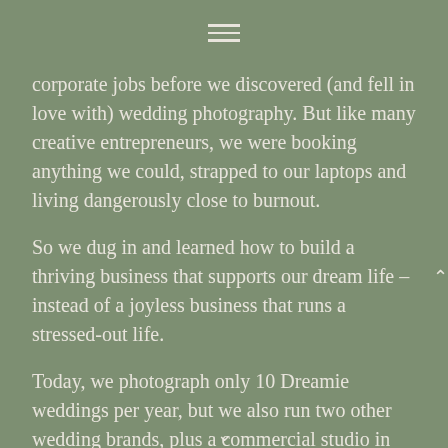≡
corporate jobs before we discovered (and fell in love with) wedding photography. But like many creative entrepreneurs, we were booking anything we could, strapped to our laptops and living dangerously close to burnout.
So we dug in and learned how to build a thriving business that supports our dream life – instead of a joyless business that runs a stressed-out life.
Today, we photograph only 10 Dreamie weddings per year, but we also run two other wedding brands, plus a commercial studio in San Diego, CA. And we do it by only working the hours that fit into our life. The other hours? We spend those living a joyful life raising our two beautiful sons, James and Samuel.